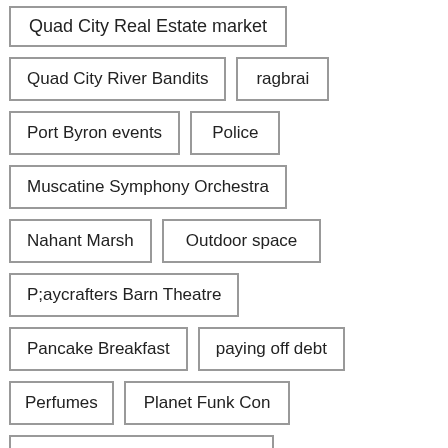Quad City Real Estate market
Quad City River Bandits
ragbrai
Port Byron events
Police
Muscatine Symphony Orchestra
Nahant Marsh
Outdoor space
P;aycrafters Barn Theatre
Pancake Breakfast
paying off debt
Perfumes
Planet Funk Con
Pleasant Valley School District
Polar Plunge